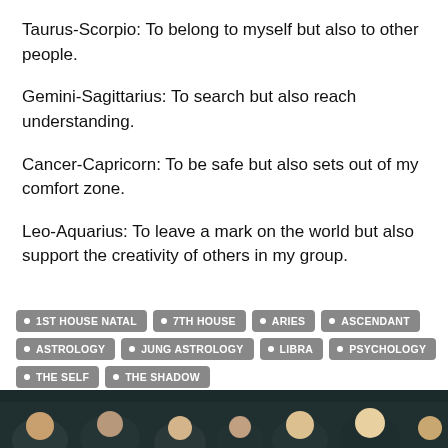Taurus-Scorpio: To belong to myself but also to other people.
Gemini-Sagittarius: To search but also reach understanding.
Cancer-Capricorn: To be safe but also sets out of my comfort zone.
Leo-Aquarius: To leave a mark on the world but also support the creativity of others in my group.
1ST HOUSE NATAL
7TH HOUSE
ARIES
ASCENDANT
ASTROLOGY
JUNG ASTROLOGY
LIBRA
PSYCHOLOGY
THE SELF
THE SHADOW
[Figure (photo): Dark photo strip showing a crowd of people at the bottom of the page]